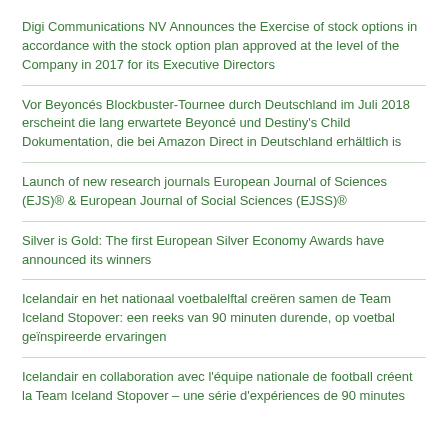Digi Communications NV Announces the Exercise of stock options in accordance with the stock option plan approved at the level of the Company in 2017 for its Executive Directors
Vor Beyoncés Blockbuster-Tournee durch Deutschland im Juli 2018 erscheint die lang erwartete Beyoncé und Destiny's Child Dokumentation, die bei Amazon Direct in Deutschland erhältlich is
Launch of new research journals European Journal of Sciences (EJS)® & European Journal of Social Sciences (EJSS)®
Silver is Gold: The first European Silver Economy Awards have announced its winners
Icelandair en het nationaal voetbalelftal creëren samen de Team Iceland Stopover: een reeks van 90 minuten durende, op voetbal geïnspireerde ervaringen
Icelandair en collaboration avec l'équipe nationale de football créent la Team Iceland Stopover – une série d'expériences de 90 minutes